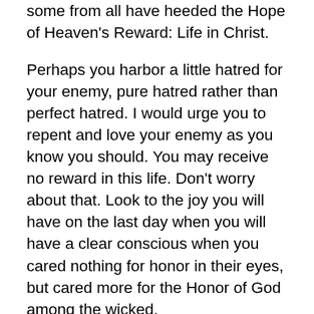some from all have heeded the Hope of Heaven's Reward: Life in Christ.
Perhaps you harbor a little hatred for your enemy, pure hatred rather than perfect hatred. I would urge you to repent and love your enemy as you know you should. You may receive no reward in this life. Don't worry about that. Look to the joy you will have on the last day when you will have a clear conscious when you cared nothing for honor in their eyes, but cared more for the Honor of God among the wicked.
How do you honor God? Truth in love. Think, act, speak with all integrity and compassion, patiently and kindly fixing your eyes on God, the Author and Finisher of your faith, the Foundation and Goal of your hope, the one who loves you enough to send His Son to die for you and is